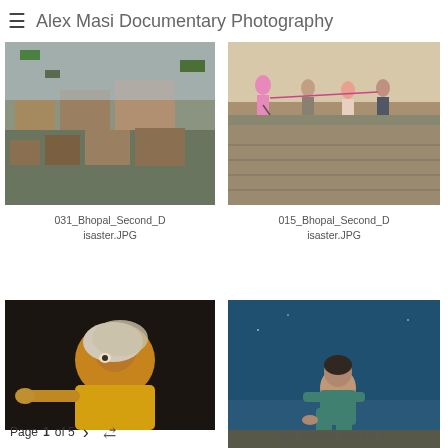≡ Alex Masi Documentary Photography
[Figure (photo): Aerial view of dense urban slum area with corrugated metal rooftops, Bhopal]
[Figure (photo): Children playing by a wall near a waterway, Bhopal]
031_Bhopal_Second_Disaster.JPG
015_Bhopal_Second_Disaster.JPG
[Figure (photo): Young girl in yellow clothing with head covering, dramatic portrait, Bhopal]
[Figure (photo): Child sitting hunched against a blue wall, Bhopal]
002_Bhopal_Second_D
Page 1 of 5 > <